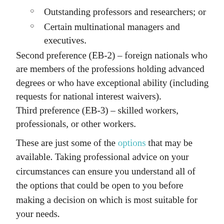Outstanding professors and researchers; or
Certain multinational managers and executives.
Second preference (EB-2) – foreign nationals who are members of the professions holding advanced degrees or who have exceptional ability (including requests for national interest waivers).
Third preference (EB-3) – skilled workers, professionals, or other workers.
These are just some of the options that may be available. Taking professional advice on your circumstances can ensure you understand all of the options that could be open to you before making a decision on which is most suitable for your needs.